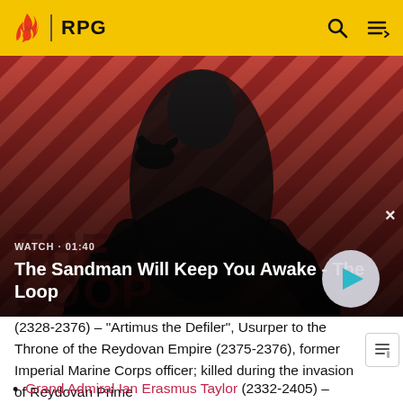RPG
[Figure (screenshot): Video thumbnail showing a dark-cloaked figure with a raven on shoulder against a red and black diagonal striped background. Title text: The Sandman Will Keep You Awake - The Loop. Watch duration: 01:40.]
(2328-2376) – "Artimus the Defiler", Usurper to the Throne of the Reydovan Empire (2375-2376), former Imperial Marine Corps officer; killed during the invasion of Reydovan Prime
Grand Admiral Ian Erasmus Taylor (2332-2405) –